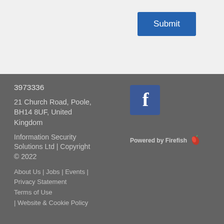Submit
3973336
21 Church Road, Poole, BH14 8UF, United Kingdom
Information Security Solutions Ltd | Copyright © 2022
About Us | Jobs | Events | Privacy Statement
Terms of Use
| Website & Cookie Policy
[Figure (logo): Facebook logo icon - blue square with white letter f]
Powered by Firefish